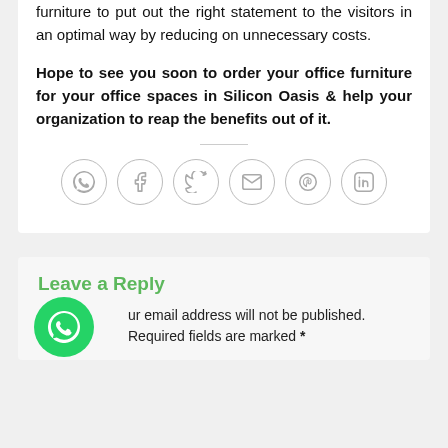furniture to put out the right statement to the visitors in an optimal way by reducing on unnecessary costs.
Hope to see you soon to order your office furniture for your office spaces in Silicon Oasis & help your organization to reap the benefits out of it.
[Figure (infographic): Social sharing icons in circles: WhatsApp, Facebook, Twitter, Email, Pinterest, LinkedIn]
Leave a Reply
Your email address will not be published. Required fields are marked *